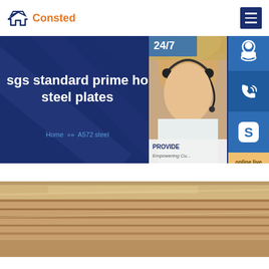[Figure (logo): Consted brand logo with house/building icon in dark blue and orange text]
sgs standard prime hot rolled steel plates
Home >> A572 steel
[Figure (photo): Customer service representative woman with headset, with 24/7 badge and blue icon sidebar showing headset, phone, Skype icons and online live button]
[Figure (photo): Stacked steel plates, golden-brown rustic surface, bottom portion of page]